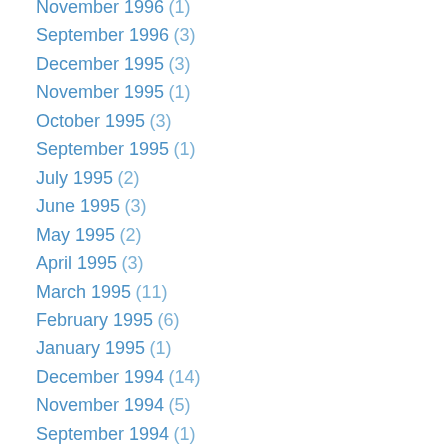November 1996 (1)
September 1996 (3)
December 1995 (3)
November 1995 (1)
October 1995 (3)
September 1995 (1)
July 1995 (2)
June 1995 (3)
May 1995 (2)
April 1995 (3)
March 1995 (11)
February 1995 (6)
January 1995 (1)
December 1994 (14)
November 1994 (5)
September 1994 (1)
August 1994 (4)
July 1994 (2)
June 1994 (1)
May 1994 (5)